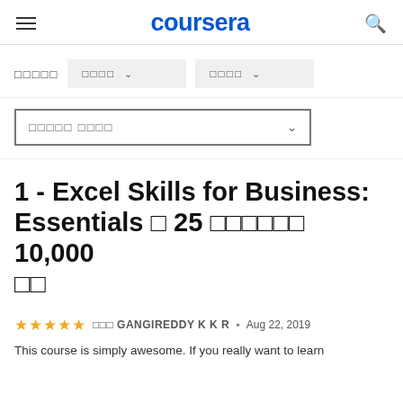coursera
□□□□□  □□□□ ∨  □□□□ ∨
□□□□□ □□□□ ∨
1 - Excel Skills for Business: Essentials □ 25 □□□□□□ 10,000 □□
★★★★★ □□□ GANGIREDDY K K R • Aug 22, 2019
This course is simply awesome. If you really want to learn